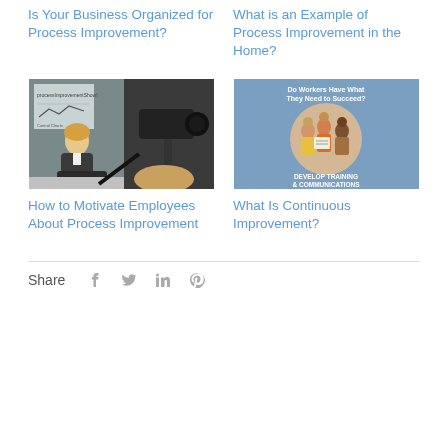Is Your Business Organized for Process Improvement?
What is an Example of Process Improvement in the Home?
[Figure (photo): Woman in business attire seated at desk with camera and video equipment in foreground, with a process improvement chart visible on screen behind her]
[Figure (illustration): Illustrated graphic with blue background showing a circular illustration of people working together, with text 'Do Workers Have What They Need to Succeed?' at top and 'DEVELOP TRAINING & COMMUNICATIONS' at bottom]
How to Motivate Employees About Process Improvement
What Is Continuous Improvement?
Share